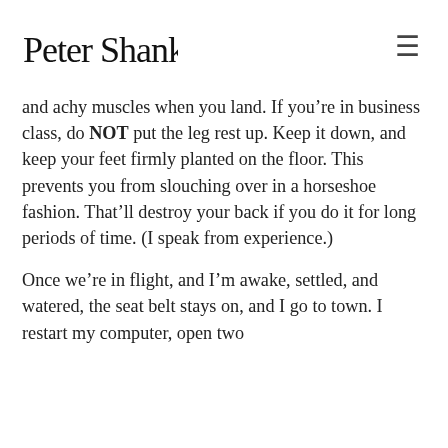Peter Shankman
and achy muscles when you land. If you’re in business class, do NOT put the leg rest up. Keep it down, and keep your feet firmly planted on the floor. This prevents you from slouching over in a horseshoe fashion. That’ll destroy your back if you do it for long periods of time. (I speak from experience.)
Once we’re in flight, and I’m awake, settled, and watered, the seat belt stays on, and I go to town. I restart my computer, open two